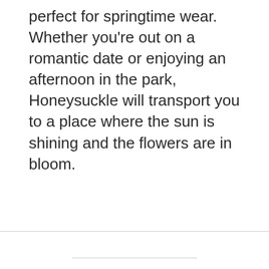perfect for springtime wear. Whether you're out on a romantic date or enjoying an afternoon in the park, Honeysuckle will transport you to a place where the sun is shining and the flowers are in bloom.